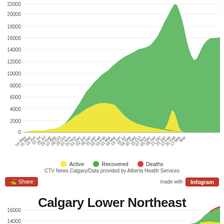[Figure (area-chart): Stacked area chart showing Active (yellow), Recovered (green), and Deaths (red) COVID-19 cases over time from May 2020 to March 2021, with values reaching approximately 22000 at peak.]
Active   Recovered   Deaths
CTV News Calgary/Data provided by Alberta Health Services
Share   made with Infogram
Calgary Lower Northeast
[Figure (area-chart): Stacked area chart showing Active (yellow), Recovered (green), and Deaths (red) COVID-19 cases for Calgary Lower Northeast, with y-axis up to 16000, visible peak around 14000.]